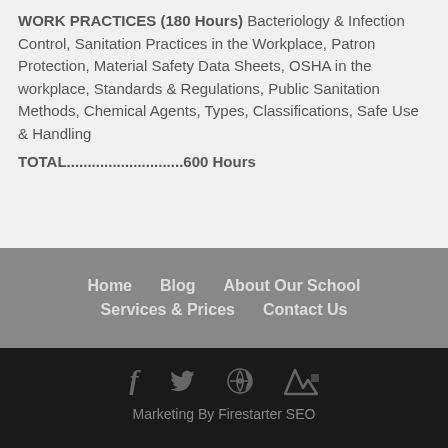WORK PRACTICES (180 Hours) Bacteriology & Infection Control, Sanitation Practices in the Workplace, Patron Protection, Material Safety Data Sheets, OSHA in the workplace, Standards & Regulations, Public Sanitation Methods, Chemical Agents, Types, Classifications, Safe Use & Handling
TOTAL............................600 Hours
Home  Blog  About Our School  Services & Prices  Contact Us
Marketing By Firestarter SEO
CALL NOW  DIRECTIONS